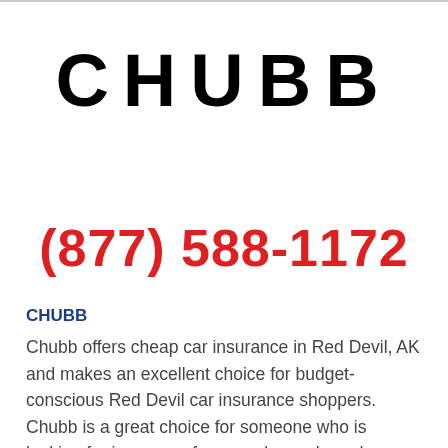[Figure (logo): CHUBB company logo in large bold black uppercase letters]
(877) 588-1172
CHUBB
Chubb offers cheap car insurance in Red Devil, AK and makes an excellent choice for budget-conscious Red Devil car insurance shoppers. Chubb is a great choice for someone who is looking for insurance for a newly purchased car as well as those who